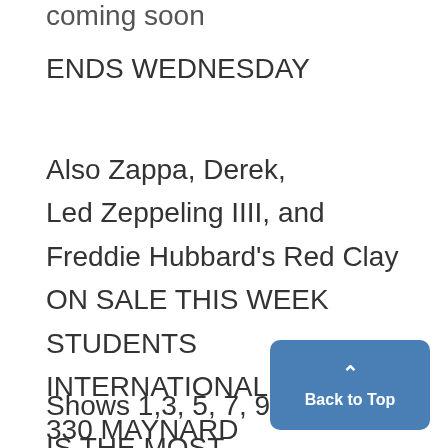coming soon
ENDS WEDNESDAY
Also Zappa, Derek, Led Zeppeling IIII, and Freddie Hubbard's Red Clay ON SALE THIS WEEK STUDENTS INTERNATIONAL STORE 330 MAYNARD 2$1.502m
Shows 1,3, 5, 7, 9:10
IS THE MOST
[Figure (other): Back to Top button with upward arrow chevron, blue rounded rectangle]